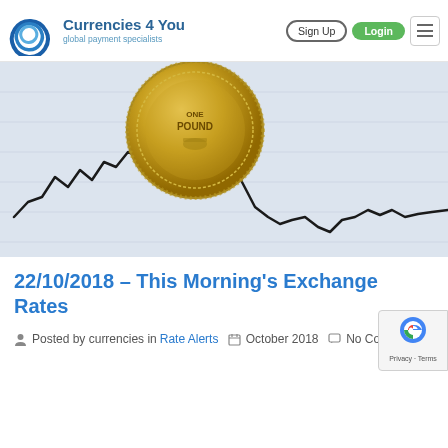Currencies 4 You — global payment specialists | Sign Up | Login
[Figure (photo): A British one pound coin resting on a paper chart showing a line graph of exchange rate movements — the line rises, then sharply drops, then partially recovers.]
22/10/2018 – This Morning's Exchange Rates
Posted by currencies in Rate Alerts   October 2018   No Comments